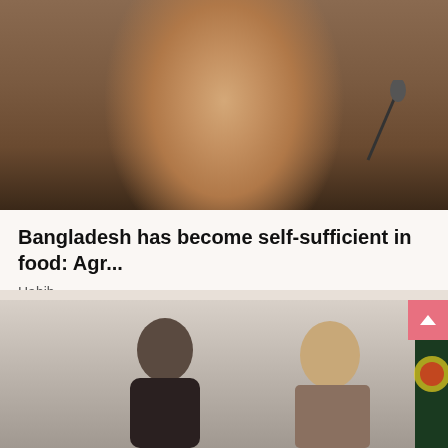[Figure (photo): A woman wearing a grey headscarf and glasses, speaking at a microphone. She appears to be at an official event or press conference.]
Bangladesh has become self-sufficient in food: Agr...
Habib
Agriculture | 2018-06-21 12:52:23
[Figure (photo): Two women at what appears to be an official meeting or event, with a flag visible on the right side.]